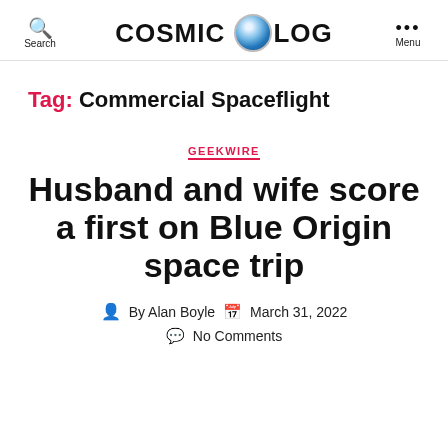Search | COSMIC LOG | Menu
Tag: Commercial Spaceflight
GEEKWIRE
Husband and wife score a first on Blue Origin space trip
By Alan Boyle   March 31, 2022   No Comments